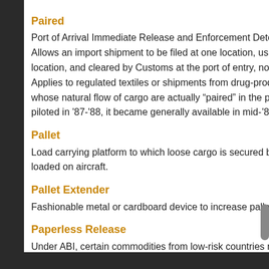Paired
Port of Arrival Immediate Release and Enforcement Determination. Allows an import shipment to be filed at one location, usually an inland location, and cleared by Customs at the port of entry, normally a seaport. Applies to regulated textiles or shipments from drug-production regions whose natural flow of cargo are actually “paired” in the program; e.g., piloted in '87-'88, it became generally available in mid- '88.
Pallet
Load carrying platform to which loose cargo is secured before being loaded on aircraft.
Pallet Extender
Fashionable metal or cardboard device to increase pallet capacity.
Paperless Release
Under ABI, certain commodities from low-risk countries may be released without the actual submission of documentation.
Part Charter
Where part of an airline’s scheduled flight is sold as if it were a charter (wet charter).
Part Load Charter
rcraft’s load is discharged at one desti…